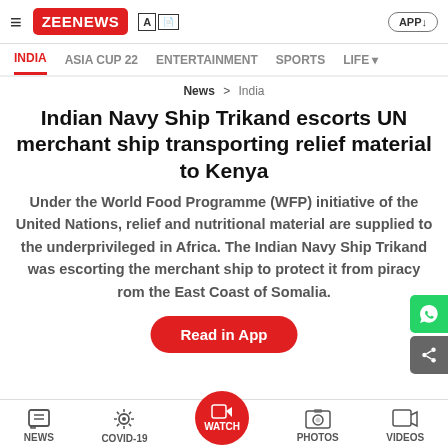Zee News — navigation bar with INDIA, ASIA CUP 22, ENTERTAINMENT, SPORTS, LIFE
News > India
Indian Navy Ship Trikand escorts UN merchant ship transporting relief material to Kenya
Under the World Food Programme (WFP) initiative of the United Nations, relief and nutritional material are supplied to the underprivileged in Africa. The Indian Navy Ship Trikand was escorting the merchant ship to protect it from piracy from the East Coast of Somalia.
Written By Zee Media Bureau | Edited By: Subhangi Kumari Singh | Last Updated: Dec 15, 2018, 22:45 PM IST | Source: Bureau
NEWS  COVID-19  WATCH  PHOTOS  VIDEOS